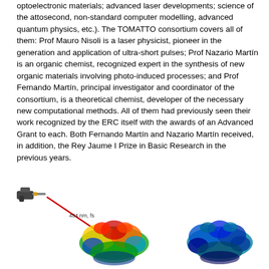optoelectronic materials; advanced laser developments; science of the attosecond, non-standard computer modelling, advanced quantum physics, etc.). The TOMATTO consortium covers all of them: Prof Mauro Nisoli is a laser physicist, pioneer in the generation and application of ultra-short pulses; Prof Nazario Martín is an organic chemist, recognized expert in the synthesis of new organic materials involving photo-induced processes; and Prof Fernando Martín, principal investigator and coordinator of the consortium, is a theoretical chemist, developer of the necessary new computational methods. All of them had previously seen their work recognized by the ERC itself with the awards of an Advanced Grant to each. Both Fernando Martín and Nazario Martín received, in addition, the Rey Jaume I Prize in Basic Research in the previous years.
[Figure (illustration): Scientific illustration showing a laser beam (484 nm, fs) hitting molecular structures depicted as colorful electron density maps. Left side shows the molecule before laser interaction, right side shows after. The molecules are rendered with rainbow color mapping (blue to red) showing electron density distribution.]